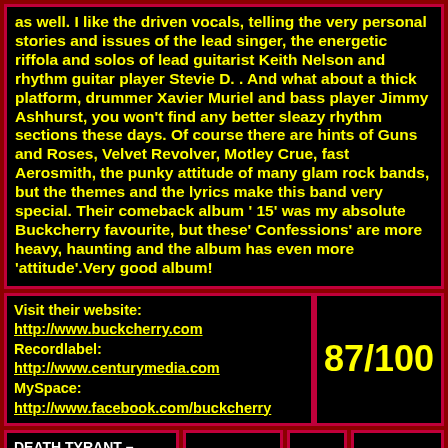as well. I like the driven vocals, telling the very personal stories and issues of the lead singer, the energetic riffola and solos of lead guitarist Keith Nelson and rhythm guitar player Stevie D. . And what about a thick platform, drummer Xavier Muriel and bass player Jimmy Ashhurst, you won't find any better sleazy rhythm sections these days. Of course there are hints of Guns and Roses, Velvet Revolver, Motley Crue, fast Aerosmith, the punky attitude of many glam rock bands, but the themes and the lyrics make this band very special. Their comeback album ' 15' was my absolute Buckcherry favourite, but these' Confessions' are more heavy, haunting and the album has even more 'attitude'.Very good album!
Visit their website:
http://www.buckcherry.com
Recordlabel:
http://www.centurymedia.com
MySpace:
http://www.facebook.com/buckcherry
87/100
DEATH TYRANT – Opus De Tyranis (CD)
Sweden
April 2013
William Nijhof